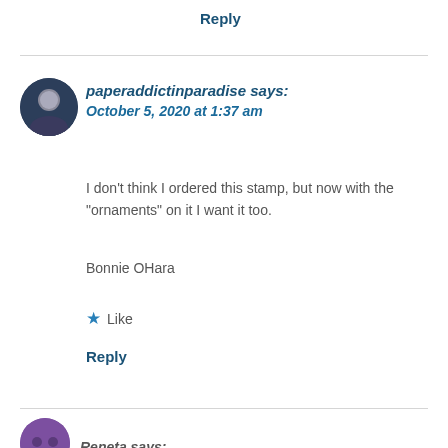Reply
paperaddictinparadise says:
October 5, 2020 at 1:37 am
I don’t think I ordered this stamp, but now with the “ornaments” on it I want it too.
Bonnie OHara
★ Like
Reply
Reneta says: